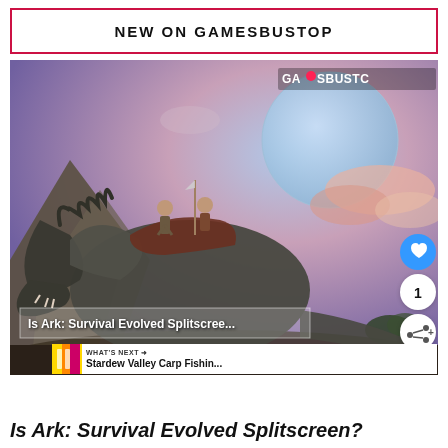NEW ON GAMESBUSTOP
[Figure (screenshot): ARK: Survival Evolved game screenshot showing a T-Rex dinosaur with riders, a large moon in the sky, and GAMESBUSTOP watermark. UI elements include a like button (heart icon, blue circle), count badge showing '1', share button, and overlay title 'Is Ark: Survival Evolved Splitscreen?' with a 'WHAT'S NEXT' bar showing Stardew Valley Carp Fishin...]
Is Ark: Survival Evolved Splitscreen?